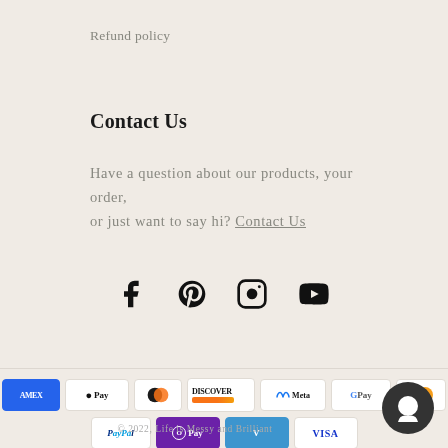Refund policy
Contact Us
Have a question about our products, your order, or just want to say hi? Contact Us
[Figure (infographic): Social media icons: Facebook, Pinterest, Instagram, YouTube]
[Figure (infographic): Payment method icons: AMEX, Apple Pay, Diners Club, Discover, Meta Pay, Google Pay, Mastercard, PayPal, O Pay, Venmo, Visa]
© 2022, Life is Messy and Brilliant